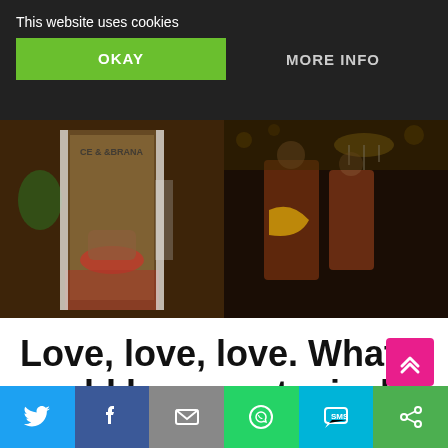This website uses cookies
OKAY
MORE INFO
[Figure (photo): Two fashion store window display photos side by side: left shows ornate interior with patterned chair and red floor; right shows mannequins in richly decorated clothing]
Love, love, love. What could be more typical to symbolise it than a heart?
[Figure (other): Social sharing bar with Twitter, Facebook, email, WhatsApp, SMS, and other buttons]